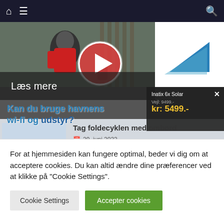Navigation bar with home icon, menu icon, and search icon
[Figure (screenshot): Website screenshot showing a navigation bar with home and menu icons, a video thumbnail of a person in a red life jacket with a play button overlay, a blue triangle logo, a 'Læs mere' (Read more) overlay, an advertisement popup showing 'Inatix 6x Solar', and an article preview about folding bikes with headline 'Kan du bruge havnens udstyr?' and article title 'Tag foldecyklen med ombord' dated 29. juni 2022]
For at hjemmesiden kan fungere optimal, beder vi dig om at acceptere cookies. Du kan altid ændre dine præferencer ved at klikke på "Cookie Settings".
Cookie Settings
Accepter cookies